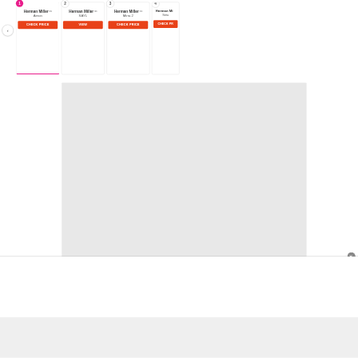[Figure (screenshot): Product comparison carousel showing 4 Herman Miller chairs (Aeron, SAYL, Mirra 2, and a partially visible 4th) with numbered badges, brand logos with wave symbol, chair names, and orange CHECK PRICE / VIEW buttons. Navigation arrows on left and right. Item 1 (Aeron) has a pink bottom border indicating selection. Below is a large gray placeholder box, a thin divider line with a close button (x), a white panel, and a gray bottom strip.]